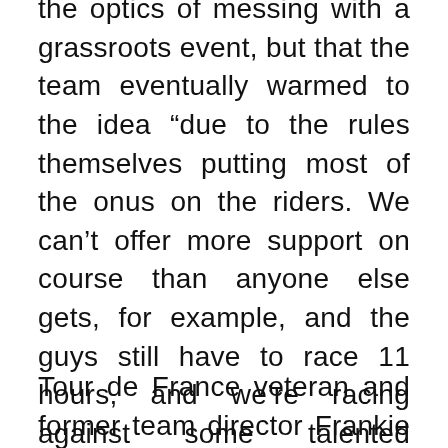the optics of messing with a grassroots event, but that the team eventually warmed to the idea “due to the rules themselves putting most of the onus on the riders. We can’t offer more support on course than anyone else gets, for example, and the guys still have to race 11 hours, and we’re racing against some talented riders.”
Tour de France veteran and former team director Frankie Andreu told The Outer Line that he believes these alternative